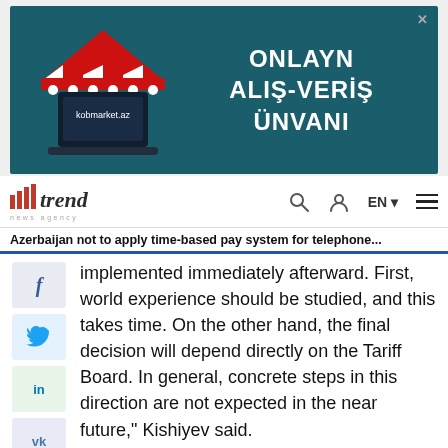[Figure (other): Advertisement banner for kobmarket.az — teal background with market stall illustration on left and white text 'ONLAYN ALIŞ-VERİŞ ÜNVANI' on right]
trend news agency — navigation bar with search, user, EN language selector, and hamburger menu
Azerbaijan not to apply time-based pay system for telephone...
implemented immediately afterward. First, world experience should be studied, and this takes time. On the other hand, the final decision will depend directly on the Tariff Board. In general, concrete steps in this direction are not expected in the near future," Kishiyev said.
He cited as an example the tariff plans of mobile operators, which are applied given the needs of different categories of users, who